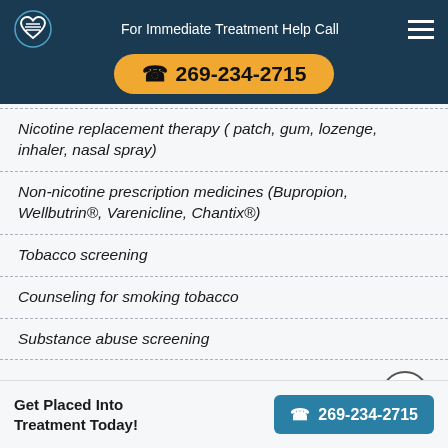For Immediate Treatment Help Call 269-234-2715
Nicotine replacement therapy ( patch, gum, lozenge, inhaler, nasal spray)
Non-nicotine prescription medicines (Bupropion, Wellbutrin®, Varenicline, Chantix®)
Tobacco screening
Counseling for smoking tobacco
Substance abuse screening
Comprehensive assessment for substance abuse
Detox and...
Get Placed Into Treatment Today! ☎ 269-234-2715